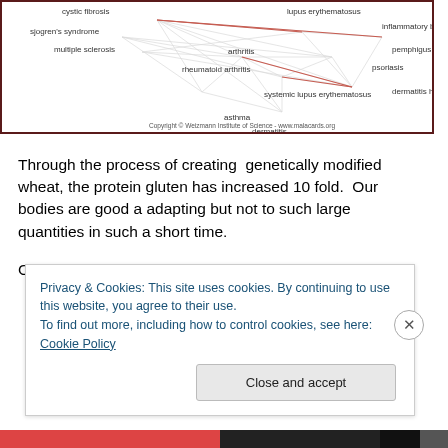[Figure (network-graph): Network graph showing disease connections including cystic fibrosis, sjogren's syndrome, multiple sclerosis, rheumatoid arthritis, systemic lupus erythematosus, asthma, arthritis, dermatitis herpetiformis, psoriasis, inflammatory bowel disease, pemphigus, dermatitis, and lupus erythematosus. Copyright Weizmann Institute of Science - www.malacards.org]
Through the process of creating  genetically modified wheat, the protein gluten has increased 10 fold.  Our bodies are good a adapting but not to such large quantities in such a short time.
Celiac disease, also known as coeliac disease, is an
Privacy & Cookies: This site uses cookies. By continuing to use this website, you agree to their use.
To find out more, including how to control cookies, see here: Cookie Policy